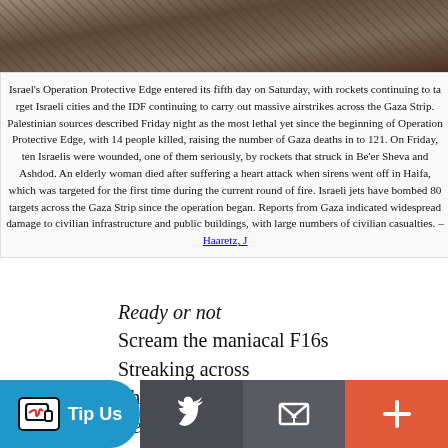[Figure (photo): Rubble and debris, destruction scene, top strip photo]
Israel's Operation Protective Edge entered its fifth day on Saturday, with rockets continuing to target Israeli cities and the IDF continuing to carry out massive airstrikes across the Gaza Strip. Palestinian sources described Friday night as the most lethal yet since the beginning of Operation Protective Edge, with 14 people killed, raising the number of Gaza deaths in to 121. On Friday, ten Israelis were wounded, one of them seriously, by rockets that struck in Be'er Sheva and Ashdod. An elderly woman died after suffering a heart attack when sirens went off in Haifa, which was targeted for the first time during the current round of fire. Israeli jets have bombed 80 targets across the Gaza Strip since the operation began. Reports from Gaza indicated widespread damage to civilian infrastructure and public buildings, with large numbers of civilian casualties. –Haaretz, July 12
Ready or not
Scream the maniacal F16s
Streaking across
The scalded sky
Here we come
On the ground
The terrified children
Of the rubble
Scatter
But they cannot hide